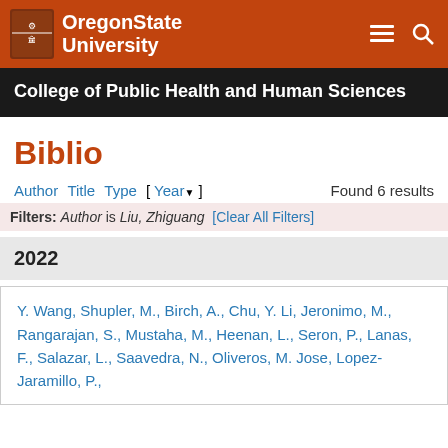Oregon State University
College of Public Health and Human Sciences
Biblio
Author Title Type [ Year▼ ]   Found 6 results
Filters: Author is Liu, Zhiguang [Clear All Filters]
2022
Y. Wang, Shupler, M., Birch, A., Chu, Y. Li, Jeronimo, M., Rangarajan, S., Mustaha, M., Heenan, L., Seron, P., Lanas, F., Salazar, L., Saavedra, N., Oliveros, M. Jose, Lopez-Jaramillo, P.,